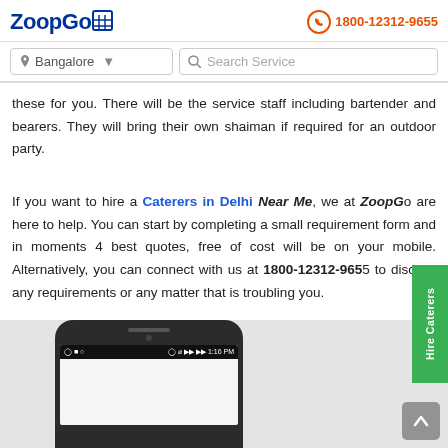ZoopGo  1800-12312-9655
these for you. There will be the service staff including bartender and bearers. They will bring their own shaiman if required for an outdoor party.
If you want to hire a Caterers in Delhi Near Me, we at ZoopGo are here to help. You can start by completing a small requirement form and in moments 4 best quotes, free of cost will be on your mobile. Alternatively, you can connect with us at 1800-12312-9655 to discuss any requirements or any matter that is troubling you.
[Figure (screenshot): Bottom gray section showing a smartphone mockup]